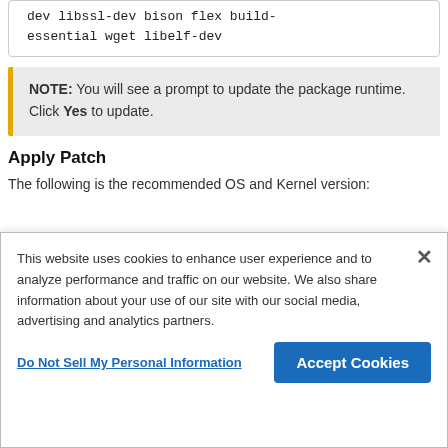dev libssl-dev bison flex build-essential wget libelf-dev
NOTE: You will see a prompt to update the package runtime. Click Yes to update.
Apply Patch
The following is the recommended OS and Kernel version:
This website uses cookies to enhance user experience and to analyze performance and traffic on our website. We also share information about your use of our site with our social media, advertising and analytics partners.
Do Not Sell My Personal Information
Accept Cookies